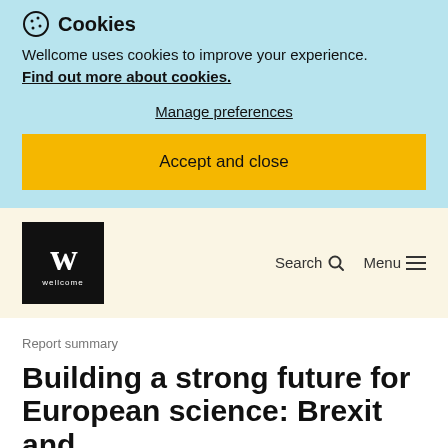Cookies
Wellcome uses cookies to improve your experience. Find out more about cookies.
Manage preferences
Accept and close
[Figure (logo): Wellcome logo: black square with white W letter and 'wellcome' text below]
Search
Menu
Report summary
Building a strong future for European science: Brexit and